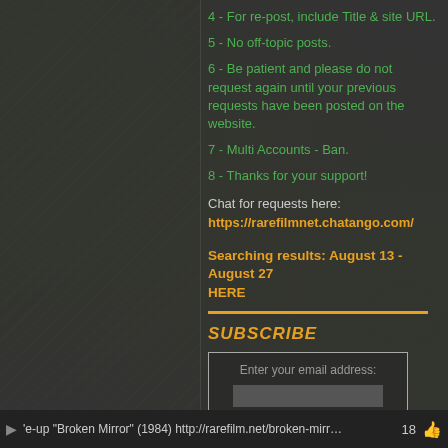4 - For re-post, include Title & site URL.
5 - No off-topic posts.
6 - Be patient and please do not request again until your previous requests have been posted on the website.
7 - Multi Accounts - Ban.
8 - Thanks for your support!
Chat for requests here: https://rarefilmnet.chatango.com/
Searching results: August 13 - August 27 HERE
SUBSCRIBE
Enter your email address: